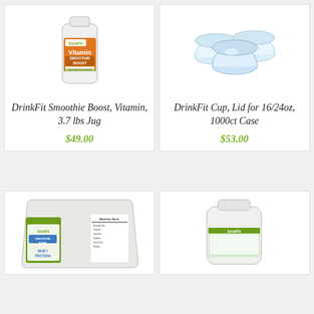[Figure (photo): DrinkFit Vitamin Smoothie Boost white jug with orange label, 3.7 lbs]
DrinkFit Smoothie Boost, Vitamin, 3.7 lbs Jug
$49.00
[Figure (photo): Three clear plastic dome lids for 16/24oz cups stacked together]
DrinkFit Cup, Lid for 16/24oz, 1000ct Case
$53.00
[Figure (photo): DrinkFit Smoothie Base Whey Protein bag with green and blue label]
[Figure (photo): White DrinkFit supplement jug with green label, partially visible]